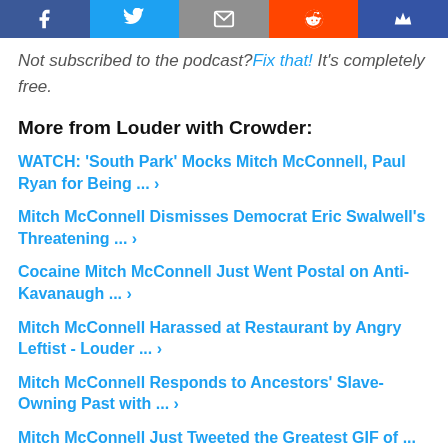[Figure (other): Social media share bar with icons for Facebook, Twitter, Email, Reddit, and Crown/Recommend buttons]
Not subscribed to the podcast? Fix that! It's completely free.
More from Louder with Crowder:
WATCH: 'South Park' Mocks Mitch McConnell, Paul Ryan for Being ... ›
Mitch McConnell Dismisses Democrat Eric Swalwell's Threatening ... ›
Cocaine Mitch McConnell Just Went Postal on Anti-Kavanaugh ... ›
Mitch McConnell Harassed at Restaurant by Angry Leftist - Louder ... ›
Mitch McConnell Responds to Ancestors' Slave-Owning Past with ... ›
Mitch McConnell Just Tweeted the Greatest GIF of ...